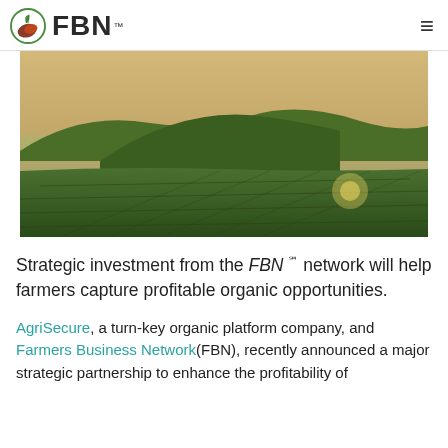FBN
[Figure (photo): Wide panoramic photograph of rolling green vineyard/farmland hills under a warm golden sky at dusk or dawn.]
Strategic investment from the FBN℠ network will help farmers capture profitable organic opportunities.
AgriSecure, a turn-key organic platform company, and Farmers Business Network(FBN), recently announced a major strategic partnership to enhance the profitability of